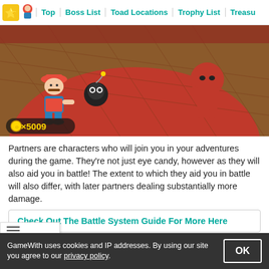Top | Boss List | Toad Locations | Trophy List | Treasu
[Figure (screenshot): Paper Mario game screenshot showing Mario with a Bob-omb partner facing a red enemy on a brown circular arena floor. Coin count shows x5009 in bottom left.]
Partners are characters who will join you in your adventures during the game. They're not just eye candy, however as they will also aid you in battle! The extent to which they aid you in battle will also differ, with later partners dealing substantially more damage.
Check Out The Battle System Guide For More Here
Change As You Progress Through The Story
GameWith uses cookies and IP addresses. By using our site you agree to our privacy policy.